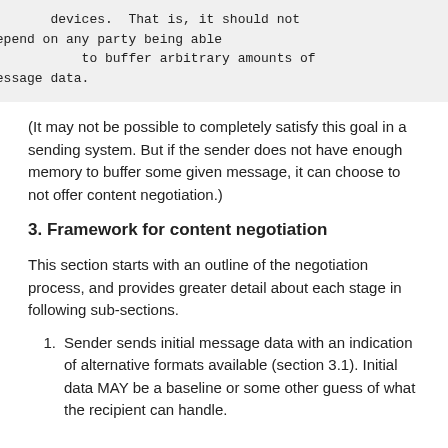devices.  That is, it should not
depend on any party being able
        to buffer arbitrary amounts of
message data.
(It may not be possible to completely satisfy this goal in a sending system. But if the sender does not have enough memory to buffer some given message, it can choose to not offer content negotiation.)
3. Framework for content negotiation
This section starts with an outline of the negotiation process, and provides greater detail about each stage in following sub-sections.
Sender sends initial message data with an indication of alternative formats available (section 3.1). Initial data MAY be a baseline or some other guess of what the recipient can handle.